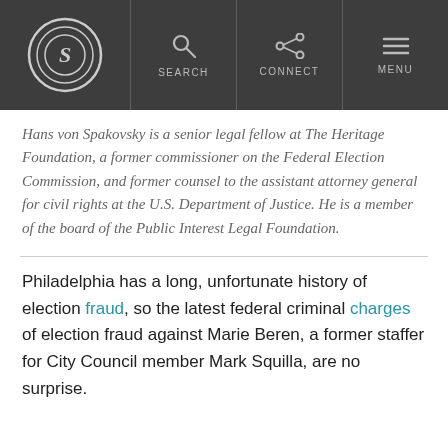SEARCH   CONNECT   MENU
Hans von Spakovsky is a senior legal fellow at The Heritage Foundation, a former commissioner on the Federal Election Commission, and former counsel to the assistant attorney general for civil rights at the U.S. Department of Justice. He is a member of the board of the Public Interest Legal Foundation.
Philadelphia has a long, unfortunate history of election fraud, so the latest federal criminal charges of election fraud against Marie Beren, a former staffer for City Council member Mark Squilla, are no surprise.